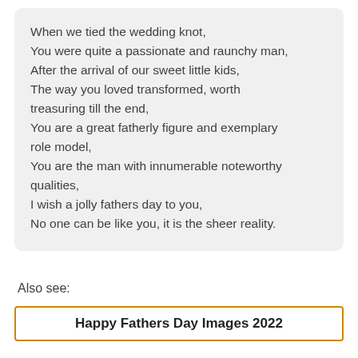When we tied the wedding knot,
You were quite a passionate and raunchy man,
After the arrival of our sweet little kids,
The way you loved transformed, worth treasuring till the end,
You are a great fatherly figure and exemplary role model,
You are the man with innumerable noteworthy qualities,
I wish a jolly fathers day to you,
No one can be like you, it is the sheer reality.
Also see:
Happy Fathers Day Images 2022